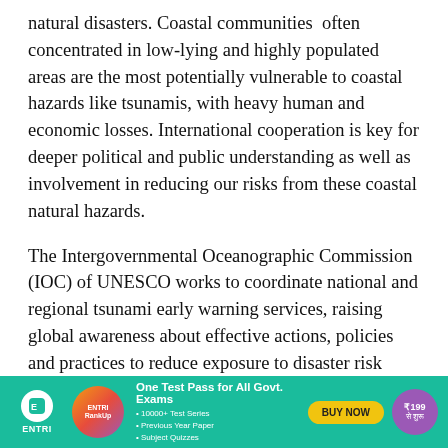natural disasters. Coastal communities  often concentrated in low-lying and highly populated areas are the most potentially vulnerable to coastal hazards like tsunamis, with heavy human and economic losses. International cooperation is key for deeper political and public understanding as well as involvement in reducing our risks from these coastal natural hazards.
The Intergovernmental Oceanographic Commission (IOC) of UNESCO works to coordinate national and regional tsunami early warning services, raising global awareness about effective actions, policies and practices to reduce exposure to disaster risk through its four Tsunami Warning and Mitigation Systems for the Pacific, Indian Ocean, Caribbean, and North Eastern Atlantic
[Figure (infographic): Advertisement banner for ENTRI app showing 'One Test Pass for All Govt. Exams' with bullet points for 10000+ Test Series, Previous Year Paper, Subject Quizzes, a BUY NOW button, and price ₹199 से शुरू on teal background.]